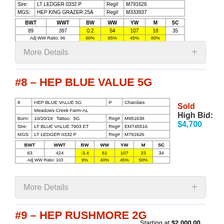| Sire: | LT LEDGER 0332 P |  | Reg# | M791626 |
| --- | --- | --- | --- | --- |
| MGS: | HEP KING GRAZER 25A |  | Reg# | M333937 |
| BWT | WWT | BW | WW | YW | M | SC |
| --- | --- | --- | --- | --- | --- | --- |
| 89 | 397 | 0.2 | 54 | 107 | 18 | 35 |
| Adj WW Ratio: 96 |  | 60% | 65% | 45% | 80% |  |
More Details
#8 – HEP BLUE VALUE 5G
| 8 | HEP BLUE VALUE 5G |  |  | P | Charolais |
|  | Meadows Creek Farm-AL |  |  |  |  |
| Born: | 10/20/19 | Tattoo: | 5G | Reg# | M951638 |
| Sire: | LT BLUE VALUE 7903 ET |  | Reg# | EM745516 |  |
| MGS: | LT LEDGER 0332 P |  | Reg# | M791626 |  |
| BWT | WWT | BW | WW | YW | M | SC |
| --- | --- | --- | --- | --- | --- | --- |
| 63 | 424 | -3.4 | 61 | 107 | 23 | 34 |
| Adj WW Ratio: 103 |  | 9% | 40% | 45% | 50% |  |
Sold
High Bid: $4,700
More Details
#9 – HEP RUSHMORE 2G
Starting at $2,000.00